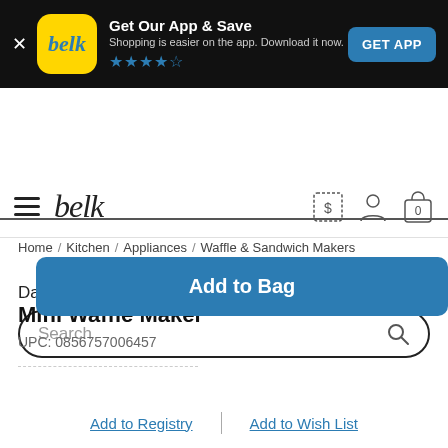[Figure (screenshot): App banner with Belk logo (yellow rounded square with blue italic 'belk'), title 'Get Our App & Save', subtitle 'Shopping is easier on the app. Download it now.', star rating (4.5 stars), and blue GET APP button, all on black background]
[Figure (screenshot): Belk website navigation bar with hamburger menu, 'belk' wordmark, and icons for rewards (dollar sign dashed border), account (person outline), and bag (0)]
[Figure (screenshot): Search bar with rounded border and magnifying glass icon, placeholder text 'Search']
Home / Kitchen / Appliances / Waffle & Sandwich Makers
Dash™
Mini Waffle Maker
UPC: 0856757006457
[Figure (screenshot): Blue 'Add to Bag' button]
Add to Registry | Add to Wish List